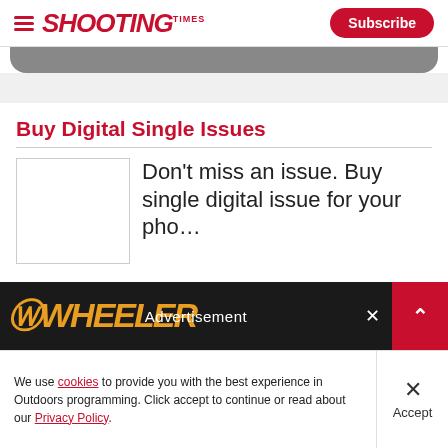SHOOTING TIMES | Subscribe
Buy Digital Single Issues
Don't miss an issue. Buy single digital issue for your pho...
[Figure (screenshot): Advertisement banner - Wheelen brand advertisement on dark background]
We use cookies to provide you with the best experience in Outdoors programming. Click accept to continue or read about our Privacy Policy.